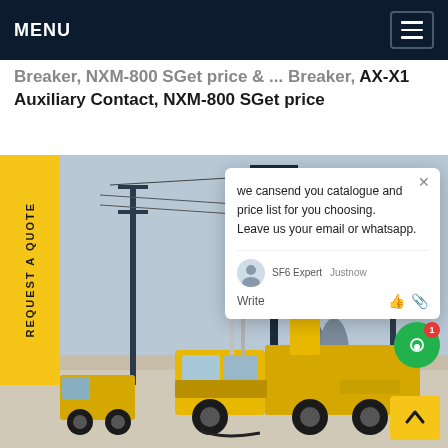MENU
Breaker, NXM-800 SGet price... Breaker, AX-X1 Auxiliary Contact, NXM-800 SGet price
[Figure (photo): Industrial electrical substation scene with a yellow ISUZU truck/aerial work platform vehicle in the foreground, high-voltage power transmission towers and equipment in background, construction site setting.]
we cansend you catalogue and price list for you choosing. Leave us your email or whatsapp.
SF6 Expert  Justnow
Write